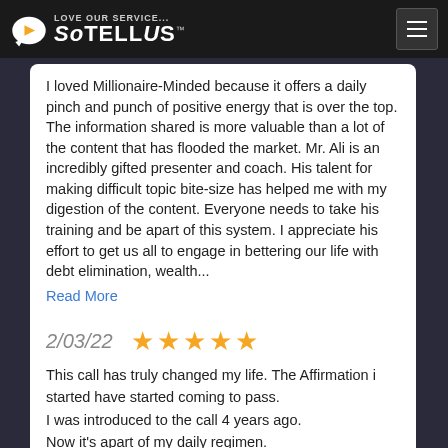Love our service... SoTellUs
I loved Millionaire-Minded because it offers a daily pinch and punch of positive energy that is over the top. The information shared is more valuable than a lot of the content that has flooded the market. Mr. Ali is an incredibly gifted presenter and coach. His talent for making difficult topic bite-size has helped me with my digestion of the content. Everyone needs to take his training and be apart of this system. I appreciate his effort to get us all to engage in bettering our life with debt elimination, wealth...
Read More
Lorinda Montgomery
2/03/22
This call has truly changed my life. The Affirmation i started have started coming to pass.
I was introduced to the call 4 years ago.
Now it's apart of my daily regimen.